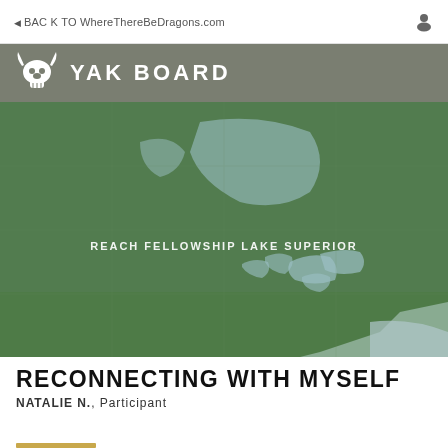BACK TO WhereThereBeDragons.com
YAK BOARD
[Figure (map): Map of North America showing Canada, United States, and Great Lakes region with 'REACH FELLOWSHIP LAKE SUPERIOR' label overlay. Green and light blue color scheme.]
RECONNECTING WITH MYSELF
NATALIE N., Participant